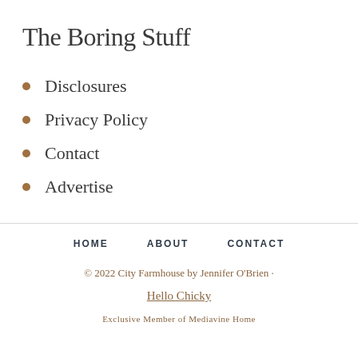The Boring Stuff
Disclosures
Privacy Policy
Contact
Advertise
HOME   ABOUT   CONTACT
© 2022 City Farmhouse by Jennifer O'Brien · Hello Chicky
Exclusive Member of Mediavine Home